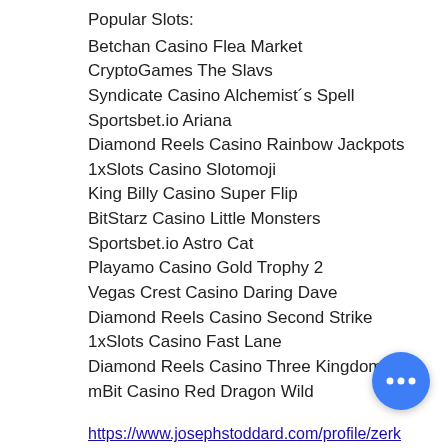Popular Slots:
Betchan Casino Flea Market
CryptoGames The Slavs
Syndicate Casino Alchemist´s Spell
Sportsbet.io Ariana
Diamond Reels Casino Rainbow Jackpots
1xSlots Casino Slotomoji
King Billy Casino Super Flip
BitStarz Casino Little Monsters
Sportsbet.io Astro Cat
Playamo Casino Gold Trophy 2
Vegas Crest Casino Daring Dave
Diamond Reels Casino Second Strike
1xSlots Casino Fast Lane
Diamond Reels Casino Three Kingdoms
mBit Casino Red Dragon Wild
https://www.josephstoddard.com/profile/zerkalo-rabochee-20-giri-gratui-6494/profile
https://www.t-oji.tokyo/profile/kazino-z-vhod-9589/profile
https://www.thelyonsmonk.com/profile/poker-